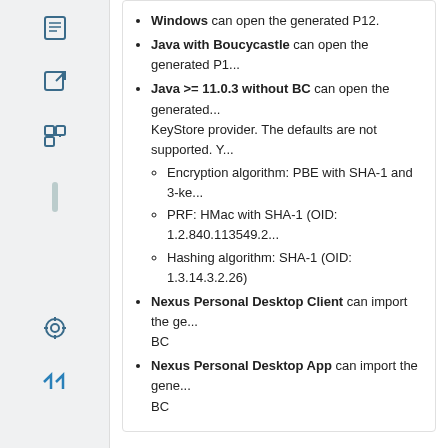Windows can open the generated P12.
Java with Boucycastle can open the generated P1...
Java >= 11.0.3 without BC can open the generated... KeyStore provider. The defaults are not supported. Encryption algorithm: PBE with SHA-1 and 3-ke... PRF: HMac with SHA-1 (OID: 1.2.840.113549.2... Hashing algorithm: SHA-1 (OID: 1.3.14.3.2.26)
Nexus Personal Desktop Client can import the ge... BC
Nexus Personal Desktop App can import the gene... BC
Configuration
To use this task, configure the following delegate expression...
[Figure (screenshot): Code Block panel showing: ${executeSoftTokenRequestAndRecovery2}]
The following parameters can be configured in Identity Mana...
| Parameter | Mandatory | Valu... |
| --- | --- | --- |
| p12PasswordField | ✓ | Exam... |